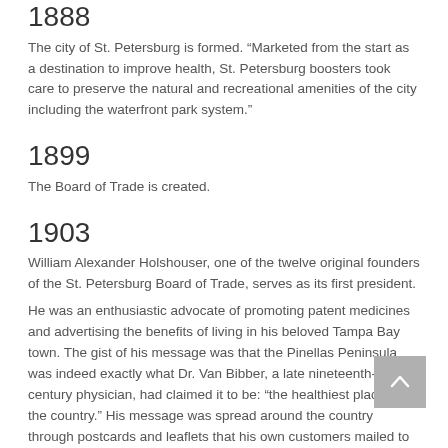1888
The city of St. Petersburg is formed. “Marketed from the start as a destination to improve health, St. Petersburg boosters took care to preserve the natural and recreational amenities of the city including the waterfront park system.”
1899
The Board of Trade is created.
1903
William Alexander Holshouser, one of the twelve original founders of the St. Petersburg Board of Trade, serves as its first president.
He was an enthusiastic advocate of promoting patent medicines and advertising the benefits of living in his beloved Tampa Bay town. The gist of his message was that the Pinellas Peninsula was indeed exactly what Dr. Van Bibber, a late nineteenth-century physician, had claimed it to be: “the healthiest place in the country.” His message was spread around the country through postcards and leaflets that his own customers mailed to friends up North. He also printed thousands of booklets and came up with clever schemes to further publicize his beloved city.
1920